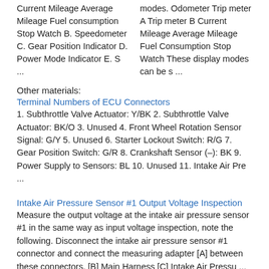Current Mileage Average Mileage Fuel consumption Stop Watch B. Speedometer C. Gear Position Indicator D. Power Mode Indicator E. S ...
modes. Odometer Trip meter A Trip meter B Current Mileage Average Mileage Fuel Consumption Stop Watch These display modes can be s ...
Other materials:
Terminal Numbers of ECU Connectors
1. Subthrottle Valve Actuator: Y/BK 2. Subthrottle Valve Actuator: BK/O 3. Unused 4. Front Wheel Rotation Sensor Signal: G/Y 5. Unused 6. Starter Lockout Switch: R/G 7. Gear Position Switch: G/R 8. Crankshaft Sensor (–): BK 9. Power Supply to Sensors: BL 10. Unused 11. Intake Air Pre ...
Intake Air Pressure Sensor #1 Output Voltage Inspection
Measure the output voltage at the intake air pressure sensor #1 in the same way as input voltage inspection, note the following. Disconnect the intake air pressure sensor #1 connector and connect the measuring adapter [A] between these connectors. [B] Main Harness [C] Intake Air Pressu ...
Tie-Rod and Rocker Arm Bearing Removal
Remove: Tie-Rod (see Tie-Rod Removal) Rocker Arms (see